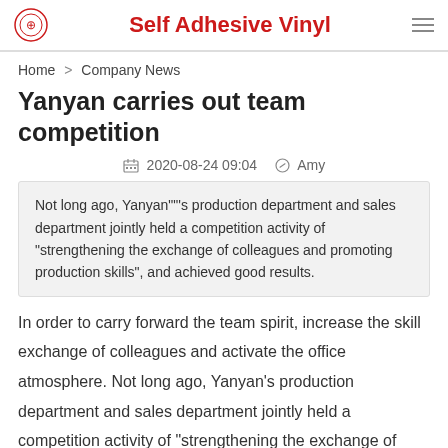Self Adhesive Vinyl
Home > Company News
Yanyan carries out team competition
2020-08-24 09:04   Amy
Not long ago, Yanyan""'s production department and sales department jointly held a competition activity of "strengthening the exchange of colleagues and promoting production skills", and achieved good results.
In order to carry forward the team spirit, increase the skill exchange of colleagues and activate the office atmosphere. Not long ago, Yanyan's production department and sales department jointly held a competition activity of "strengthening the exchange of colleagues and promoting production skills", and achieved good results.